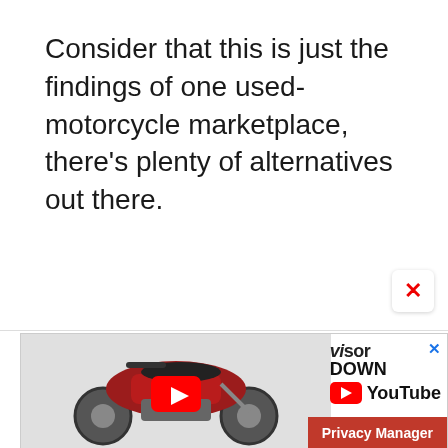Consider that this is just the findings of one used-motorcycle marketplace, there's plenty of alternatives out there.
[Figure (screenshot): Advertisement banner featuring a red motorcycle (Triumph Rocket style) with a YouTube play button overlay, Visor Down YouTube branding, and a Privacy Manager button in the bottom right corner.]